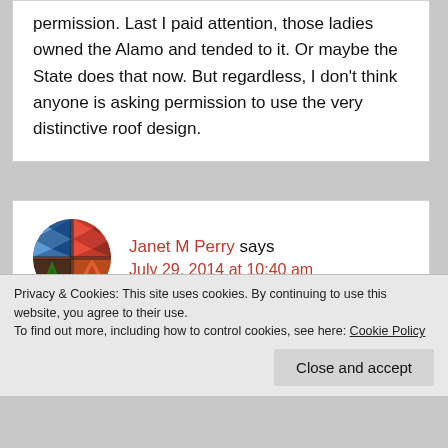permission. Last I paid attention, those ladies owned the Alamo and tended to it. Or maybe the State does that now. But regardless, I don't think anyone is asking permission to use the very distinctive roof design.
Janet M Perry says July 29, 2014 at 10:40 am
It could be that, as is often the case with older
Privacy & Cookies: This site uses cookies. By continuing to use this website, you agree to their use.
To find out more, including how to control cookies, see here: Cookie Policy